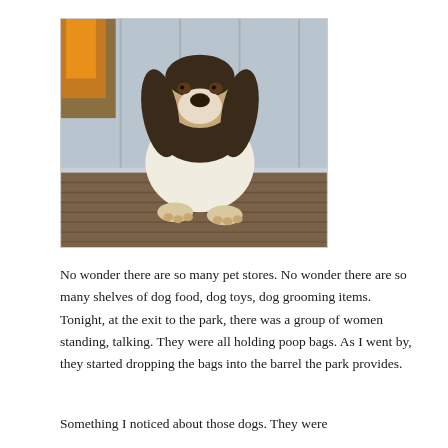[Figure (photo): A basset hound puppy sitting on a wooden deck in front of a light blue/white paneled wall, looking at the camera with long droopy ears]
No wonder there are so many pet stores. No wonder there are so many shelves of dog food, dog toys, dog grooming items. Tonight, at the exit to the park, there was a group of women standing, talking. They were all holding poop bags. As I went by, they started dropping the bags into the barrel the park provides.
Something I noticed about those dogs. They were